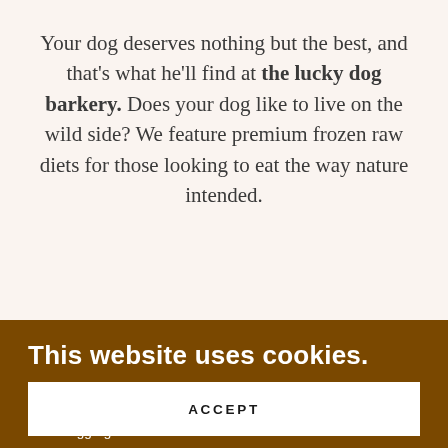Your dog deserves nothing but the best, and that's what he'll find at the lucky dog barkery. Does your dog like to live on the wild side? We feature premium frozen raw diets for those looking to eat the way nature intended.
[Figure (photo): Partial photo strip showing dog-related bakery items, partially obscured by cookie consent overlay]
This website uses cookies.
We use cookies to analyze website traffic and optimize your website experience. By accepting our use of cookies, your data will be aggregated with all other user data.
ACCEPT